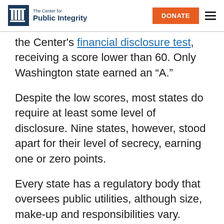The Center for Public Integrity | DONATE
the Center's financial disclosure test, receiving a score lower than 60. Only Washington state earned an “A.”
Despite the low scores, most states do require at least some level of disclosure. Nine states, however, stood apart for their level of secrecy, earning one or zero points.
Every state has a regulatory body that oversees public utilities, although size, make-up and responsibilities vary.